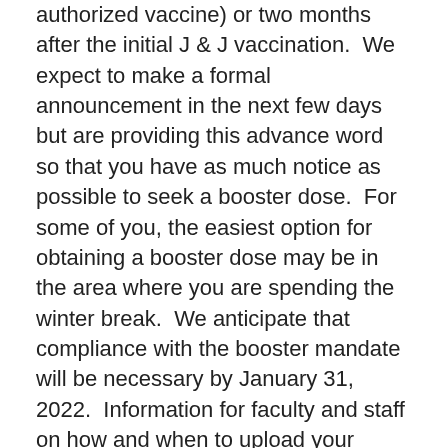authorized vaccine) or two months after the initial J & J vaccination.  We expect to make a formal announcement in the next few days but are providing this advance word so that you have as much notice as possible to seek a booster dose.  For some of you, the easiest option for obtaining a booster dose may be in the area where you are spending the winter break.  We anticipate that compliance with the booster mandate will be necessary by January 31, 2022.  Information for faculty and staff on how and when to upload your information will be provided in early January, and students can upload through their student health portal.  Booster doses are available at many pharmacies and other locations in the metropolitan area or wherever you may be traveling to over the winter break.  Columbia will continue offering booster doses for Morningside students at Lerner Hall and for faculty, staff and CUIMC students at...